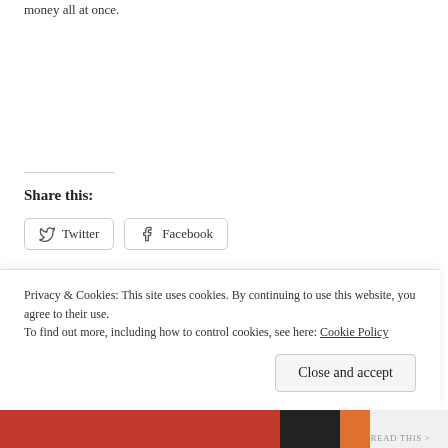money all at once.
Share this:
Twitter  Facebook
Like
Be the first to like this.
Advertisements
Privacy & Cookies: This site uses cookies. By continuing to use this website, you agree to their use.
To find out more, including how to control cookies, see here: Cookie Policy
Close and accept